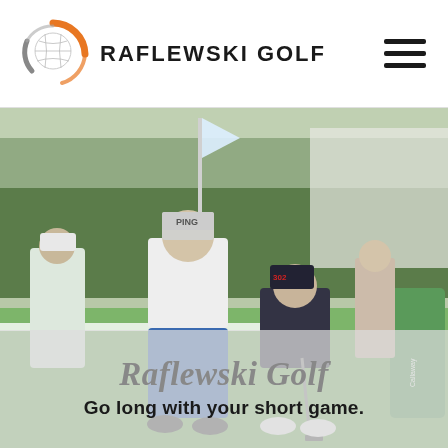[Figure (logo): Raflewski Golf logo: golf ball with orange and grey circular swoosh arcs, beside bold uppercase text RAFLEWSKI GOLF]
[Figure (other): Hamburger menu icon: three horizontal black lines stacked vertically]
[Figure (photo): Golf coaching scene outdoors on a putting green. A woman golfer in dark cap bends over her putter while a male instructor in blue trousers and PING cap watches. Other spectators and trees visible in background.]
Raflewski Golf
Go long with your short game.